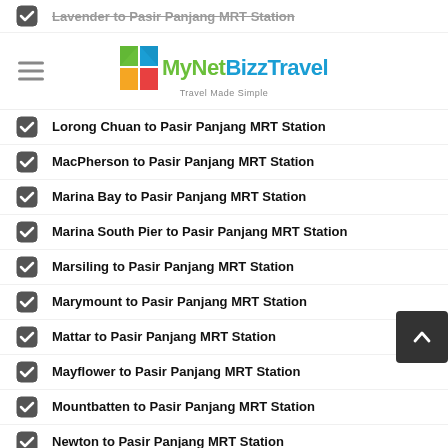Lavender to Pasir Panjang MRT Station
MyNetBizz Travel — Travel Made Simple
Lorong Chuan to Pasir Panjang MRT Station
MacPherson to Pasir Panjang MRT Station
Marina Bay to Pasir Panjang MRT Station
Marina South Pier to Pasir Panjang MRT Station
Marsiling to Pasir Panjang MRT Station
Marymount to Pasir Panjang MRT Station
Mattar to Pasir Panjang MRT Station
Mayflower to Pasir Panjang MRT Station
Mountbatten to Pasir Panjang MRT Station
Newton to Pasir Panjang MRT Station
Nicoll Highway to Pasir Panjang MRT Station
Novena to Pasir Panjang MRT Station